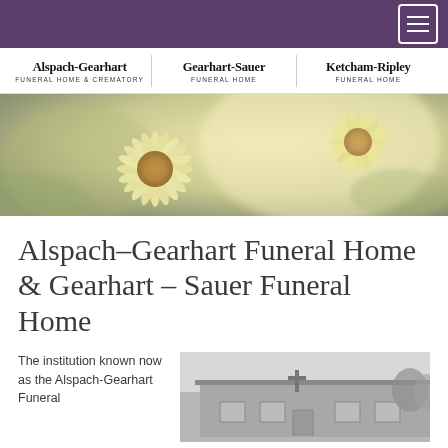Navigation bar with hamburger menu
[Figure (logo): Alspach-Gearhart Funeral Home & Crematory | Gearhart-Sauer Funeral Home | Ketcham-Ripley Funeral Home logos]
[Figure (photo): Close-up photo of yellow/cream daisies with soft blurred background]
Alspach-Gearhart Funeral Home & Gearhart – Sauer Funeral Home
The institution known now as the Alspach-Gearhart Funeral
[Figure (photo): Black and white photo of a building exterior with a cross visible on the facade]